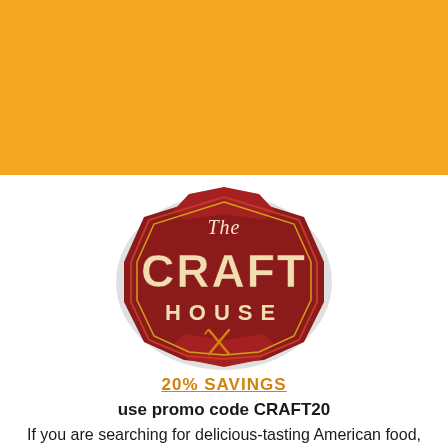pies and milkshakes. We're here seven days a week and promise to keep you like you're hungry!
535 Fifth Street, Clovis (559) 299-9750
(559) 324-2083
CARING FOR CLOVIS
THE CRAFT HOUSE
[Figure (logo): The Craft House restaurant logo — a dark red shield/badge shape with gold trim, featuring cursive 'The' at top, large bold 'CRAFT' in center, 'HOUSE' below, and crossed fork and knife icon at bottom]
20% SAVINGS
use promo code CRAFT20
If you are searching for delicious-tasting American food,